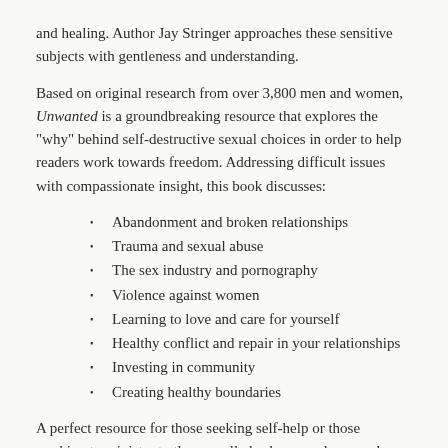and healing. Author Jay Stringer approaches these sensitive subjects with gentleness and understanding.
Based on original research from over 3,800 men and women, Unwanted is a groundbreaking resource that explores the "why" behind self-destructive sexual choices in order to help readers work towards freedom. Addressing difficult issues with compassionate insight, this book discusses:
Abandonment and broken relationships
Trauma and sexual abuse
The sex industry and pornography
Violence against women
Learning to love and care for yourself
Healthy conflict and repair in your relationships
Investing in community
Creating healthy boundaries
A perfect resource for those seeking self-help or those working to minister to the sexually broken people around them, Unwanted offers life-changing, practical guidance rooted in clinical evidence